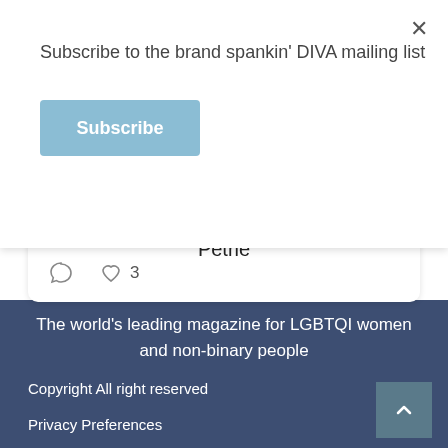Subscribe to the brand spankin' DIVA mailing list
Subscribe
of me for years': DIVA meets Grace Petrie
3
The world's leading magazine for LGBTQI women and non-binary people
Copyright All right reserved
Privacy Preferences